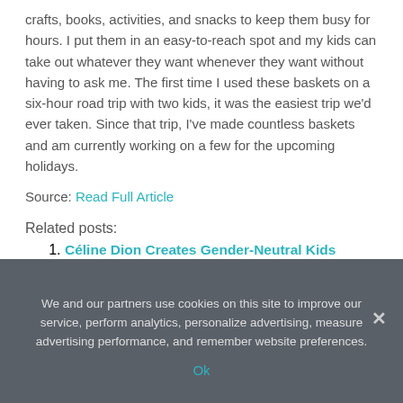crafts, books, activities, and snacks to keep them busy for hours. I put them in an easy-to-reach spot and my kids can take out whatever they want whenever they want without having to ask me. The first time I used these baskets on a six-hour road trip with two kids, it was the easiest trip we'd ever taken. Since that trip, I've made countless baskets and am currently working on a few for the upcoming holidays.
Source: Read Full Article
Related posts:
Céline Dion Creates Gender-Neutral Kids Clothing Line, Celinununu
Grown Kids Are Pulling This Turkey Prank on Parents With Hilarious Results
Nicole Kidman Would Have Loved Having 10 Kids With Keith Urban
We and our partners use cookies on this site to improve our service, perform analytics, personalize advertising, measure advertising performance, and remember website preferences.
Ok